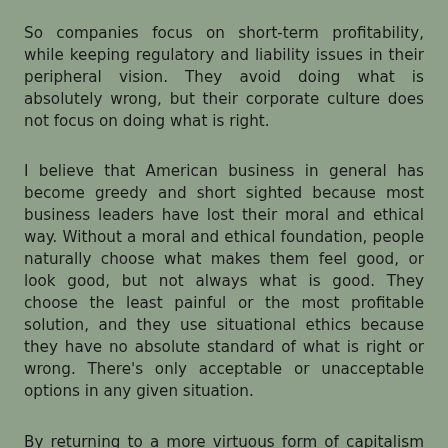So companies focus on short-term profitability, while keeping regulatory and liability issues in their peripheral vision. They avoid doing what is absolutely wrong, but their corporate culture does not focus on doing what is right.
I believe that American business in general has become greedy and short sighted because most business leaders have lost their moral and ethical way. Without a moral and ethical foundation, people naturally choose what makes them feel good, or look good, but not always what is good. They choose the least painful or the most profitable solution, and they use situational ethics because they have no absolute standard of what is right or wrong. There's only acceptable or unacceptable options in any given situation.
By returning to a more virtuous form of capitalism by following tried and true moral and ethical guidelines we can define standards of conduct that will prevent moral and ethical lapses in business. Just as the founding fathers of